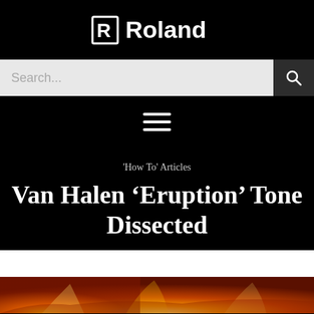Roland
[Figure (screenshot): Search bar with text 'Search...' and a dark search button with magnifying glass icon]
[Figure (infographic): Hamburger menu icon (three horizontal lines) on black background]
'How To' Articles
Van Halen ‘Eruption’ Tone Dissected
[Figure (photo): Bottom portion of a fiery/eruption themed image with orange and gold tones]